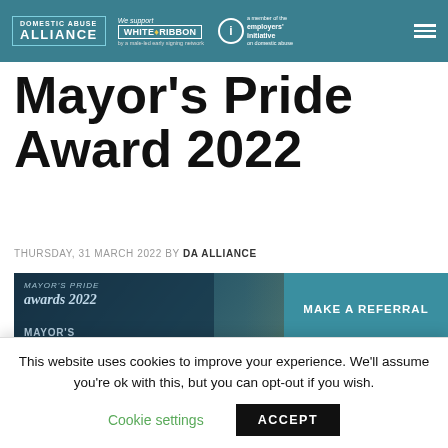DOMESTIC ABUSE ALLIANCE | We support WHITE RIBBON | a member of the employers' initiative on domestic abuse
Mayor's Pride Award 2022
THURSDAY, 31 MARCH 2022 BY DA ALLIANCE
[Figure (photo): Mayor's Pride Awards 2022 trophy/plaque showing 'MAYOR'S RECOGNITION AWARD' and 'DOMESTIC ABUSE' text, with a teal star and event setting in background. A 'MAKE A REFERRAL' button overlay is displayed on the right side.]
This website uses cookies to improve your experience. We'll assume you're ok with this, but you can opt-out if you wish.
Cookie settings   ACCEPT